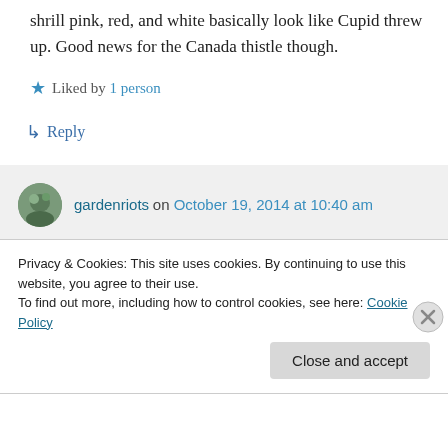shrill pink, red, and white basically look like Cupid threw up. Good news for the Canada thistle though.
★ Liked by 1 person
↳ Reply
gardenriots on October 19, 2014 at 10:40 am
It's always great to get a little confirmation that I'm not the only one to see this kind of
Privacy & Cookies: This site uses cookies. By continuing to use this website, you agree to their use.
To find out more, including how to control cookies, see here: Cookie Policy
Close and accept